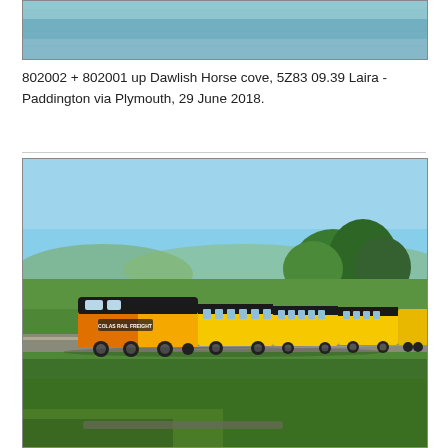[Figure (photo): Top portion of a photograph showing water/sea with a blue-grey horizon, cropped at the top of the page.]
802002 + 802001 up Dawlish Horse cove, 5Z83 09.39 Laira - Paddington via Plymouth, 29 June 2018.
[Figure (photo): Photograph of a yellow Colas Rail Freight locomotive pulling yellow track measurement/inspection coaches along a railway through green countryside with fields, trees, and clear blue sky. Taken in summer daylight.]